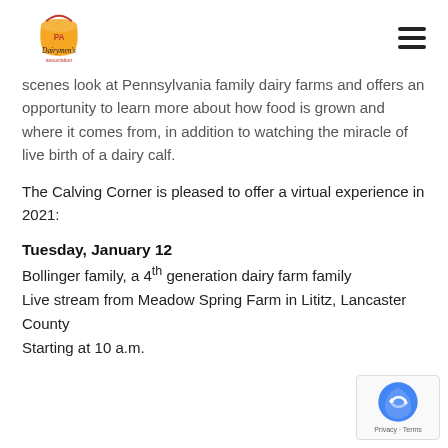PA Dairymen's Association [logo] [hamburger menu]
scenes look at Pennsylvania family dairy farms and offers an opportunity to learn more about how food is grown and where it comes from, in addition to watching the miracle of live birth of a dairy calf.
The Calving Corner is pleased to offer a virtual experience in 2021:
Tuesday, January 12
Bollinger family, a 4th generation dairy farm family
Live stream from Meadow Spring Farm in Lititz, Lancaster County
Starting at 10 a.m.